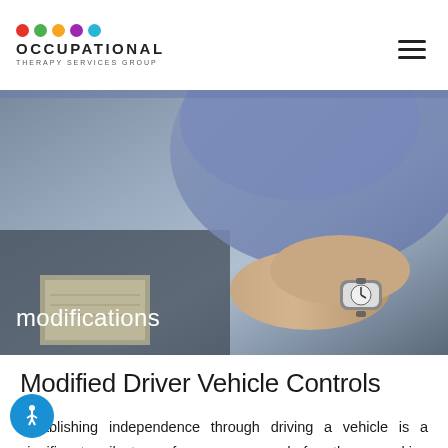OCCUPATIONAL THERAPY SERVICES GROUP
[Figure (photo): Close-up photo of a person's wrist wearing a watch, adjusting vehicle controls. Text overlay reads 'modifications'.]
Modified Driver Vehicle Controls
Establishing independence through driving a vehicle is a significant milestone for anyone, and for those making alterations to a vehicle - we know this is a huge decision, and it's a decision you want you to get right the first time. OT Services Group provides modified